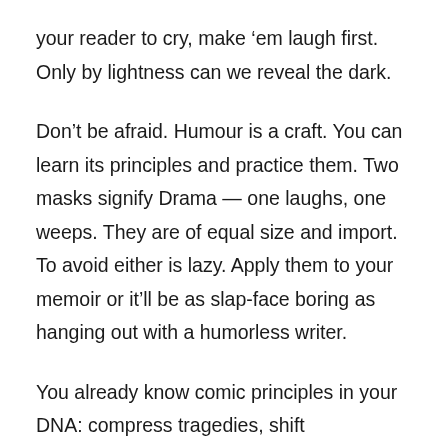your reader to cry, make ‘em laugh first. Only by lightness can we reveal the dark.
Don’t be afraid. Humour is a craft. You can learn its principles and practice them. Two masks signify Drama — one laughs, one weeps. They are of equal size and import. To avoid either is lazy. Apply them to your memoir or it’ll be as slap-face boring as hanging out with a humorless writer.
You already know comic principles in your DNA: compress tragedies, shift perspectives, change contexts, expose flaws, heighten stakes, exaggerate, distil, add a twist of lemon …